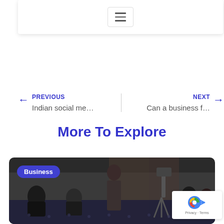Navigation menu
← PREVIOUS  Indian social me...  |  Can a business f...  NEXT →
More To Explore
[Figure (photo): A group of people in a formal setting with cameras, some seated and some standing. A blue 'Business' badge is overlaid in the top-left corner.]